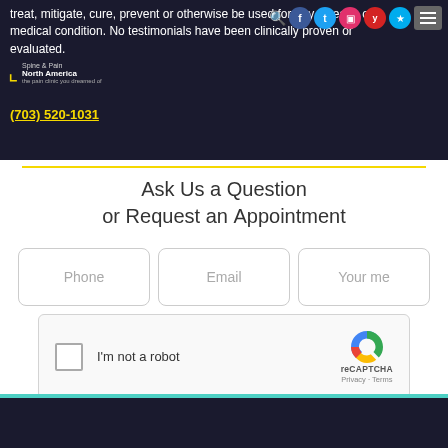treat, mitigate, cure, prevent or otherwise be used for any disease or medical condition. No testimonials have been clinically proven or evaluated. (703) 520-1031
Ask Us a Question or Request an Appointment
[Figure (screenshot): Web contact form with Phone, Email, Your me fields, reCAPTCHA, and SUBMIT button]